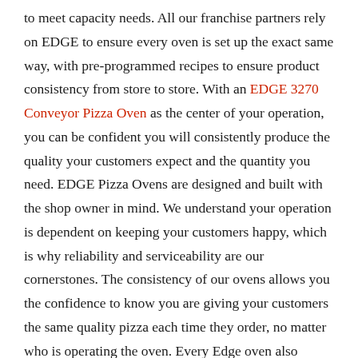to meet capacity needs.  All our franchise partners rely on EDGE to ensure every oven is set up the exact same way, with pre-programmed recipes to ensure product consistency from store to store.  With an EDGE 3270 Conveyor Pizza Oven as the center of your operation, you can be confident you will consistently produce the quality your customers expect and the quantity you need.   EDGE Pizza Ovens are designed and built with the shop owner in mind.  We understand your operation is dependent on keeping your customers happy, which is why reliability and serviceability are our cornerstones.  The consistency of our ovens allows you the confidence to know you are giving your customers the same quality pizza each time they order, no matter who is operating the oven.  Every Edge oven also comes with a 5-year Parts and Labor Warranty providing further security in protecting your investment and business.  The G2 Control Interface is easy to use and allows for 30 programable, security pass codes for authorized operators and unmatched diagnostics.